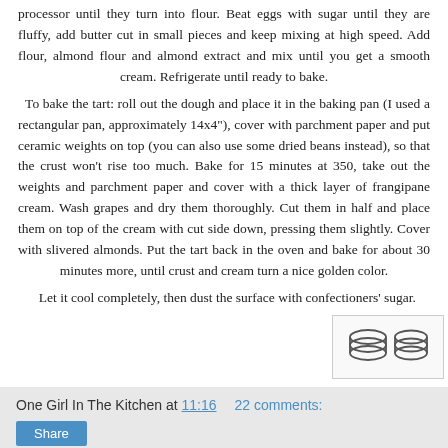processor until they turn into flour. Beat eggs with sugar until they are fluffy, add butter cut in small pieces and keep mixing at high speed. Add flour, almond flour and almond extract and mix until you get a smooth cream. Refrigerate until ready to bake.
  To bake the tart: roll out the dough and place it in the baking pan (I used a rectangular pan, approximately 14x4"), cover with parchment paper and put ceramic weights on top (you can also use some dried beans instead), so that the crust won't rise too much. Bake for 15 minutes at 350, take out the weights and parchment paper and cover with a thick layer of frangipane cream. Wash grapes and dry them thoroughly. Cut them in half and place them on top of the cream with cut side down, pressing them slightly. Cover with slivered almonds. Put the tart back in the oven and bake for about 30 minutes more, until crust and cream turn a nice golden color.
  Let it cool completely, then dust the surface with confectioners' sugar.
[Figure (illustration): Two small stacked-layers icons representing a share/print button, shown side by side in a light bordered box.]
One Girl In The Kitchen at 11:16    22 comments:
Share